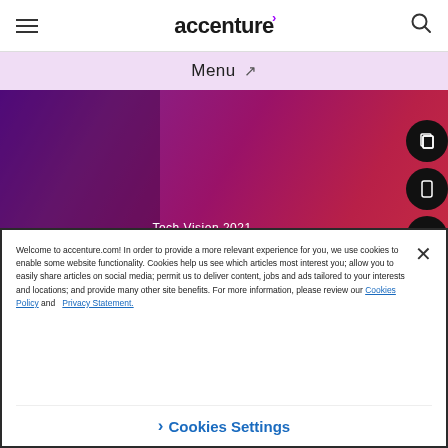accenture — header with hamburger menu and search icon
Menu
[Figure (screenshot): Accenture Tech Vision 2021 hero banner with purple-to-red gradient background showing 'Tech Vision 2021 / Leaders wanted / Masters of change at a moment of truth' with side navigation icons]
Welcome to accenture.com! In order to provide a more relevant experience for you, we use cookies to enable some website functionality. Cookies help us see which articles most interest you; allow you to easily share articles on social media; permit us to deliver content, jobs and ads tailored to your interests and locations; and provide many other site benefits. For more information, please review our Cookies Policy and Privacy Statement.
Cookies Settings